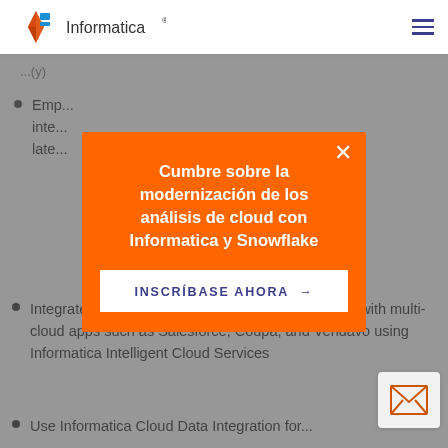Informatica
Emp... inte... late...
[Figure (infographic): Orange modal popup overlay on a greyed-out webpage. Title: 'Cumbre sobre la modernización de los análisis de cloud con Informatica y Snowflake'. CTA button: 'INSCRÍBASE AHORA →'. Close button (X) in top-right corner.]
Integrate SAP and other on-premises data sources with multi-cloud apps such as Salesforce, Coupa, and Vendavo using Informatica Intelligent Cloud Services
Use Informatica Cloud Data Integration for...